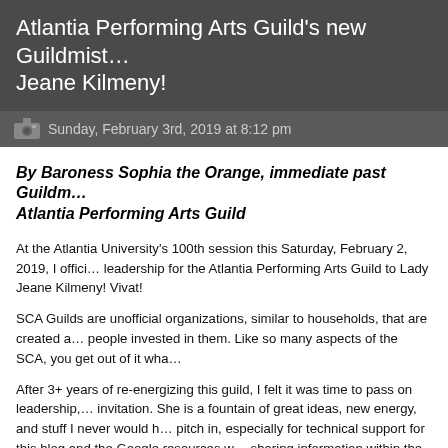Atlantia Performing Arts Guild's new Guildmistress: Lady Jeane Kilmeny!
Sunday, February 3rd, 2019 at 8:12 pm
By Baroness Sophia the Orange, immediate past Guildmistress, Atlantia Performing Arts Guild
At the Atlantia University's 100th session this Saturday, February 2, 2019, I officially passed leadership for the Atlantia Performing Arts Guild to Lady Jeane Kilmeny! Vivat!
SCA Guilds are unofficial organizations, similar to households, that are created and kept alive by people invested in them. Like so many aspects of the SCA, you get out of it what you put in.
After 3+ years of re-energizing this guild, I felt it was time to pass on leadership, and Jeane accepted my invitation. She is a fountain of great ideas, new energy, and stuff I never would have thought to try. She'll pitch in, especially for technical support for this blog and the Google resources we use for planning and sharing information within the guild. And now, the buck stops with the magnificent Jeane! She will serve our community well, and I'm thrilled to pass this torch to her.
[Figure (photo): Photo showing a room scene with a vertical pole or stand visible in the center]